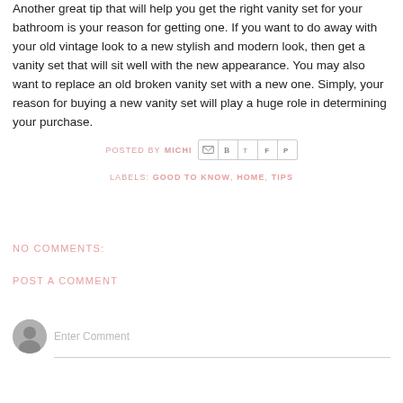Another great tip that will help you get the right vanity set for your bathroom is your reason for getting one. If you want to do away with your old vintage look to a new stylish and modern look, then get a vanity set that will sit well with the new appearance. You may also want to replace an old broken vanity set with a new one. Simply, your reason for buying a new vanity set will play a huge role in determining your purchase.
POSTED BY MICHI [share icons]
LABELS: GOOD TO KNOW, HOME, TIPS
NO COMMENTS:
POST A COMMENT
Enter Comment